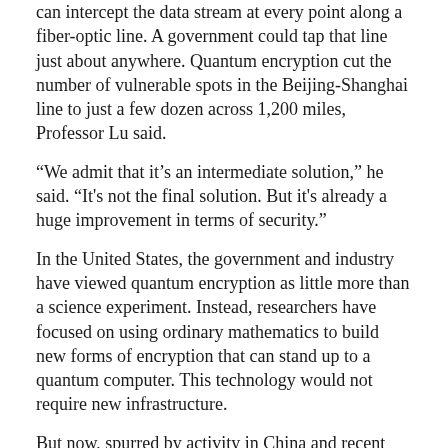can intercept the data stream at every point along a fiber-optic line. A government could tap that line just about anywhere. Quantum encryption cut the number of vulnerable spots in the Beijing-Shanghai line to just a few dozen across 1,200 miles, Professor Lu said.
“We admit that it’s an intermediate solution,” he said. “It's not the final solution. But it's already a huge improvement in terms of security.”
In the United States, the government and industry have viewed quantum encryption as little more than a science experiment. Instead, researchers have focused on using ordinary mathematics to build new forms of encryption that can stand up to a quantum computer. This technology would not require new infrastructure.
But now, spurred by activity in China and recent advances in quantum research, some in the United States are playing catch-up.
Qubitekk, a Southern California start-up, is working to secure